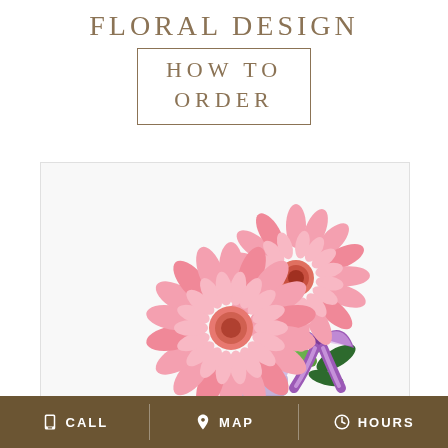FLORAL DESIGN
HOW TO ORDER
[Figure (photo): Two pink gerbera daisies with green berries and a purple and white striped ribbon in a small lavender vase, on a white background.]
CALL  MAP  HOURS